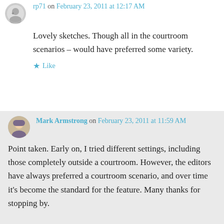rp71 on February 23, 2011 at 12:17 AM
Lovely sketches. Though all in the courtroom scenarios – would have preferred some variety.
Like
Reply
Mark Armstrong on February 23, 2011 at 11:59 AM
Point taken. Early on, I tried different settings, including those completely outside a courtroom. However, the editors have always preferred a courtroom scenario, and over time it's become the standard for the feature. Many thanks for stopping by.